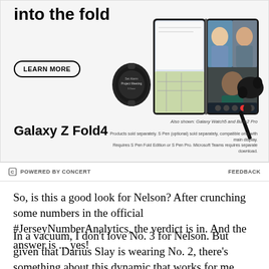[Figure (illustration): Samsung Galaxy Z Fold4 advertisement showing the device open with a video call on screen, alongside a Galaxy Watch5 and Buds2 Pro. Text reads 'into the fold' with a LEARN MORE button. Product name 'Galaxy Z Fold4' at bottom left with disclaimer text.]
POWERED BY CONCERT    FEEDBACK
So, is this a good look for Nelson? After crunching some numbers in the official #JerseyNumberAnalytics, the verdict is in. And the answer is ... yes!
In a vacuum, I don't love No. 3 for Nelson. But given that Darius Slay is wearing No. 2, there's something about this dynamic that works for me. Two starting outside corners in single digits. Really taking